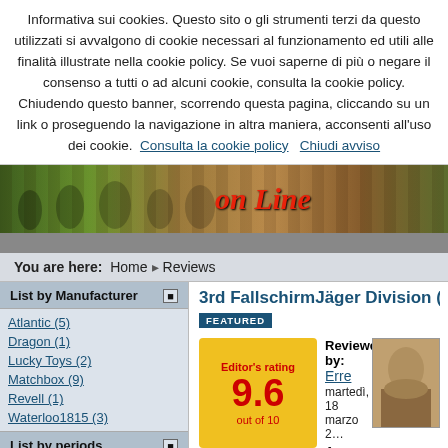Informativa sui cookies. Questo sito o gli strumenti terzi da questo utilizzati si avvalgono di cookie necessari al funzionamento ed utili alle finalità illustrate nella cookie policy. Se vuoi saperne di più o negare il consenso a tutti o ad alcuni cookie, consulta la cookie policy. Chiudendo questo banner, scorrendo questa pagina, cliccando su un link o proseguendo la navigazione in altra maniera, acconsenti all'uso dei cookie. Consulta la cookie policy  Chiudi avviso
[Figure (illustration): Website header banner showing soldiers/battle scene with cursive 'on Line' text in red]
You are here: Home ▸ Reviews
List by Manufacturer
Atlantic (5)
Dragon (1)
Lucky Toys (2)
Matchbox (9)
Revell (1)
Waterloo1815 (3)
List by periods
Guerre di Indipendenza italiano (2)
3rd FallschirmJäger Division (R…
FEATURED
Editor's rating 9.6 out of 10
Reviewed by: Erre
martedì, 18 marzo 2…
Average user rating …
4 User reviews
OVERALL RATING (WEIGHTED)